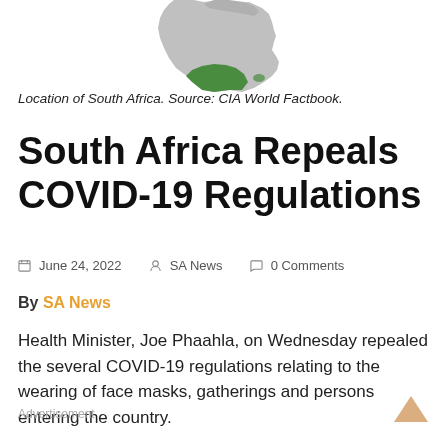[Figure (map): Partial map showing the location of South Africa highlighted in green on the African continent, with surrounding regions in gray. Source: CIA World Factbook.]
Location of South Africa. Source: CIA World Factbook.
South Africa Repeals COVID-19 Regulations
📅 June 24, 2022  👤 SA News  💬 0 Comments
By SA News
Health Minister, Joe Phaahla, on Wednesday repealed the several COVID-19 regulations relating to the wearing of face masks, gatherings and persons entering the country.
Advertisement